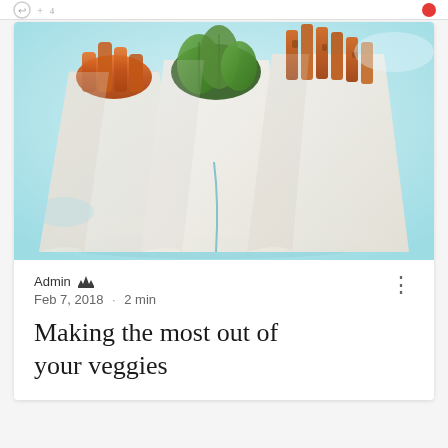[Figure (photo): Food photo showing three vegetable wraps in white paper cones arranged on a light blue background. Left cone contains orange roasted vegetables, center cone has green zucchini slices, right cone has sweet potato fries.]
Admin · Feb 7, 2018 · 2 min
Making the most out of your veggies